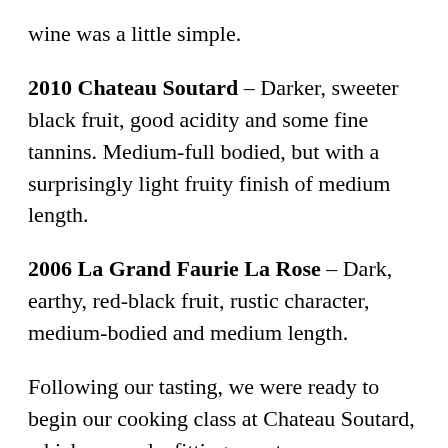wine was a little simple.
2010 Chateau Soutard – Darker, sweeter black fruit, good acidity and some fine tannins. Medium-full bodied, but with a surprisingly light fruity finish of medium length.
2006 La Grand Faurie La Rose – Dark, earthy, red-black fruit, rustic character, medium-bodied and medium length.
Following our tasting, we were ready to begin our cooking class at Chateau Soutard, which seemed a fitting way to wrap up our tour, since we started with a cooking class on our first day at Chateau